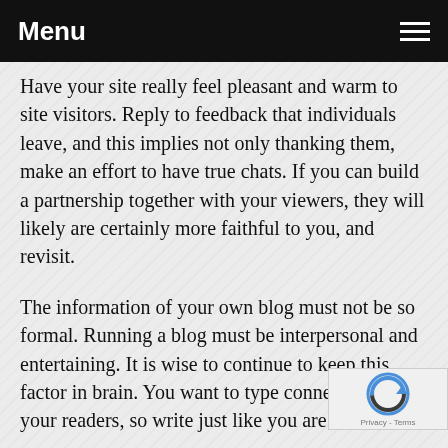Menu
Have your site really feel pleasant and warm to site visitors. Reply to feedback that individuals leave, and this implies not only thanking them, make an effort to have true chats. If you can build a partnership together with your viewers, they will likely are certainly more faithful to you, and revisit.
The information of your own blog must not be so formal. Running a blog must be interpersonal and entertaining. It is wise to continue to keep this factor in brain. You want to type connections with your readers, so write just like you are one.
Integrate discussing https://public.sitejot.com/schoolmath93.html for social media websites. While you make an effort to build up audience foundation, social network is a great way for